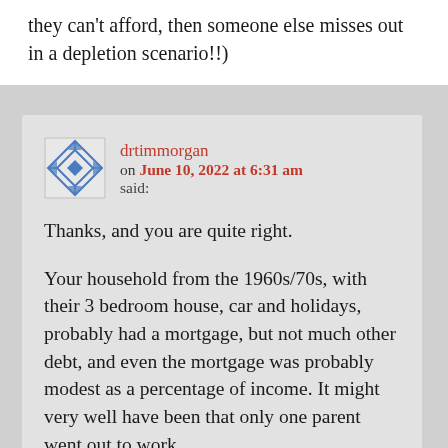they can't afford, then someone else misses out in a depletion scenario!!)
drtimmorgan on June 10, 2022 at 6:31 am said:
Thanks, and you are quite right.
Your household from the 1960s/70s, with their 3 bedroom house, car and holidays, probably had a mortgage, but not much other debt, and even the mortgage was probably modest as a percentage of income. It might very well have been that only one parent went out to work.
Official stats, adjusted for inflation, probably state that the equivalent household today is 'better off', but I